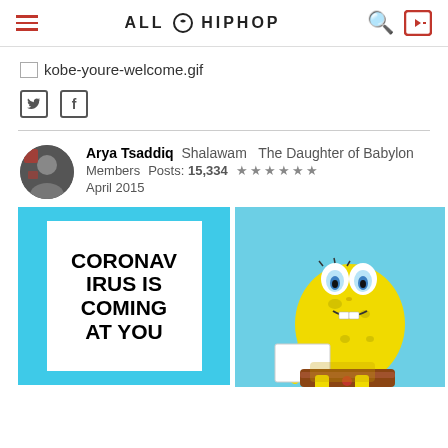ALLHIPHOP
[Figure (screenshot): Broken image placeholder for kobe-youre-welcome.gif]
kobe-youre-welcome.gif
[Figure (logo): Twitter bird icon and Facebook f icon social share buttons]
Arya Tsaddiq  Shalawam  The Daughter of Babylon  Members  Posts: 15,334  ★★★★★★  April 2015
[Figure (photo): Two-panel meme: left panel shows sign reading CORONAVIRUS IS COMING AT YOU; right panel shows Spongebob holding a blank paper]